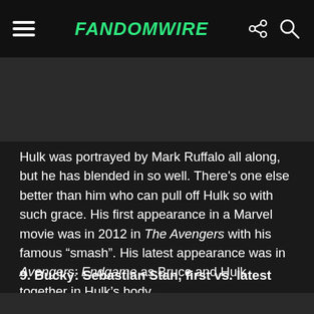FandomWire
[Figure (photo): Dark background image area (partially visible screenshot of article content)]
Hulk was portrayed by Mark Ruffalo all along, but he has blended in so well. There's one else better than him who can pull off Hulk so with such grace. His first appearance in a Marvel movie was in 2012 in The Avengers with his famous “smash”. His latest appearance was in Avengers: Endgame as Bruce and Hulk together in Hulk’s body.
9. Bucky: Sebastian Stan, first vs. latest
[Figure (photo): Two side-by-side photos of Sebastian Stan as Bucky, partially visible at bottom of page]